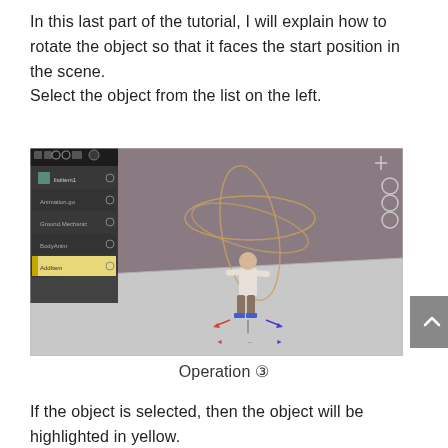In this last part of the tutorial, I will explain how to rotate the object so that it faces the start position in the scene.
Select the object from the list on the left.
[Figure (screenshot): A 3D editor viewport showing a humanoid character model standing on a gray floor plane with rotation gizmo circles visible around it. A panel on the left shows a list of scene objects with one highlighted in yellow. Navigation controls visible on the right side. A scroll-to-top button appears at the bottom right corner.]
Operation ③
If the object is selected, then the object will be highlighted in yellow.